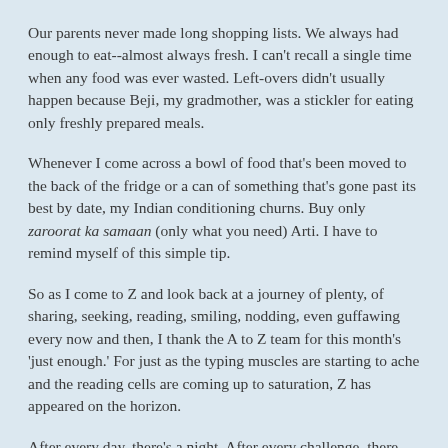Our parents never made long shopping lists. We always had enough to eat--almost always fresh. I can't recall a single time when any food was ever wasted. Left-overs didn't usually happen because Beji, my gradmother, was a stickler for eating only freshly prepared meals.
Whenever I come across a bowl of food that's been moved to the back of the fridge or a can of something that's gone past its best by date, my Indian conditioning churns. Buy only zaroorat ka samaan (only what you need) Arti. I have to remind myself of this simple tip.
So as I come to Z and look back at a journey of plenty, of sharing, seeking, reading, smiling, nodding, even guffawing every now and then, I thank the A to Z team for this month's 'just enough.' For just as the typing muscles are starting to ache and the reading cells are coming up to saturation, Z has appeared on the horizon.
After every day, there's a night. After every challenge, there must be rest.